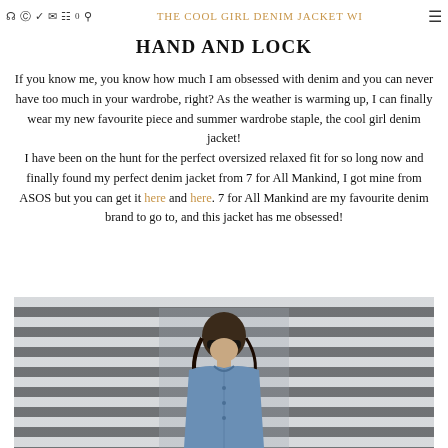THE COOL GIRL DENIM JACKET WITH HAND AND LOCK
HAND AND LOCK
If you know me, you know how much I am obsessed with denim and you can never have too much in your wardrobe, right? As the weather is warming up, I can finally wear my new favourite piece and summer wardrobe staple, the cool girl denim jacket! I have been on the hunt for the perfect oversized relaxed fit for so long now and finally found my perfect denim jacket from 7 for All Mankind, I got mine from ASOS but you can get it here and here. 7 for All Mankind are my favourite denim brand to go to, and this jacket has me obsessed!
[Figure (photo): Woman wearing sunglasses and a denim jacket, standing in front of horizontal stripes background]